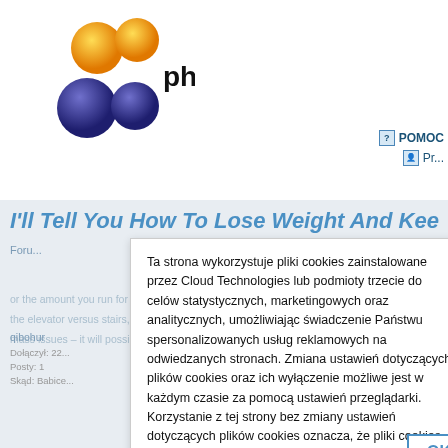[Figure (logo): phorum.pl logo with orange and dark purple/indigo circles arranged in a cluster, with the text 'phorum.pl' in bold black]
POMOC
Pr...
I'll Tell You How To Lose Weight And Kee...
Forum ... artki
Ta strona wykorzystuje pliki cookies zainstalowane przez Cloud Technologies lub podmioty trzecie do celów statystycznych, marketingowych oraz analitycznych, umożliwiając świadczenie Państwu spersonalizowanych usług reklamowych na odwiedzanych stronach. Zmiana ustawień dotyczących plików cookies oraz ich wyłączenie możliwe jest w każdym czasie za pomocą ustawień przeglądarki. Korzystanie z tej strony bez zmiany ustawień dotyczących plików cookies oznacza, że pliki cookies będą umieszczane w Państwa urządzeniu końcowym. Więcej informacji dotyczących wykorzystania plików cookies znajdziecie Państwo w naszej Polityce Prywatności.
qibohur
Dołączył: 22...
Posty: 1
Skąd: Babice...